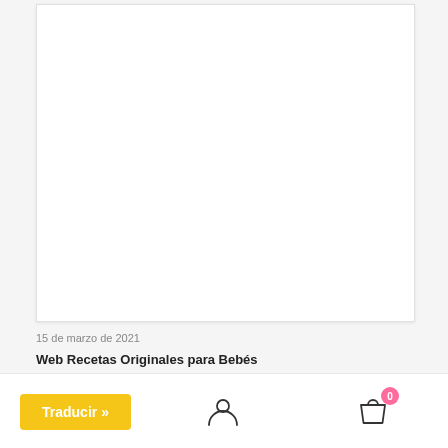[Figure (screenshot): White rectangular image card with light border and shadow on gray background]
15 de marzo de 2021
Web Recetas Originales para Bebés
[Figure (screenshot): Bottom navigation bar with grid/menu icon, user/profile icon, and shopping bag icon with pink badge showing 0. Yellow 'Traducir »' button overlaid at bottom left.]